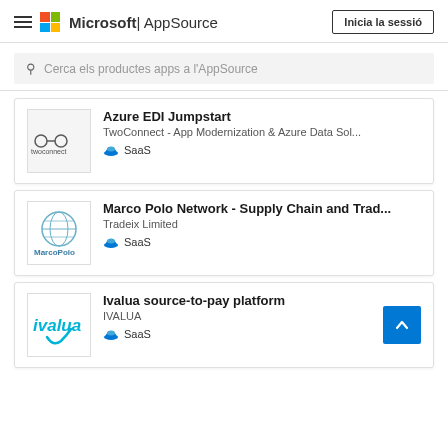Microsoft | AppSource — Inicia la sessió
Cerca els productes apps a l'AppSource
Azure EDI Jumpstart
TwoConnect - App Modernization & Azure Data Sol...
SaaS
Marco Polo Network - Supply Chain and Trad...
Tradeix Limited
SaaS
Ivalua source-to-pay platform
IVALUA
SaaS